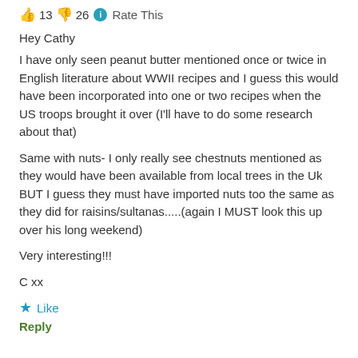👍 13 👎 26 ℹ Rate This
Hey Cathy
I have only seen peanut butter mentioned once or twice in English literature about WWII recipes and I guess this would have been incorporated into one or two recipes when the US troops brought it over (I'll have to do some research about that)
Same with nuts- I only really see chestnuts mentioned as they would have been available from local trees in the Uk BUT I guess they must have imported nuts too the same as they did for raisins/sultanas.....(again I MUST look this up over his long weekend)
Very interesting!!!
C xx
★ Like
Reply